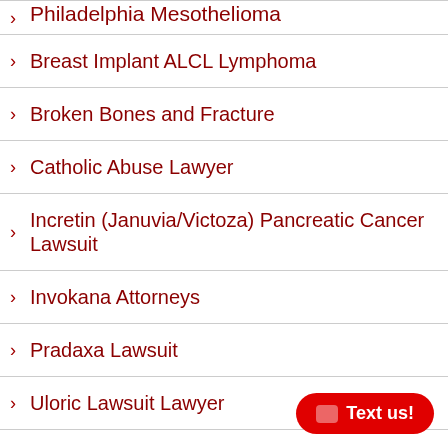Philadelphia Mesothelioma
Breast Implant ALCL Lymphoma
Broken Bones and Fracture
Catholic Abuse Lawyer
Incretin (Januvia/Victoza) Pancreatic Cancer Lawsuit
Invokana Attorneys
Pradaxa Lawsuit
Uloric Lawsuit Lawyer
Valsartan Cancer Lawsuit